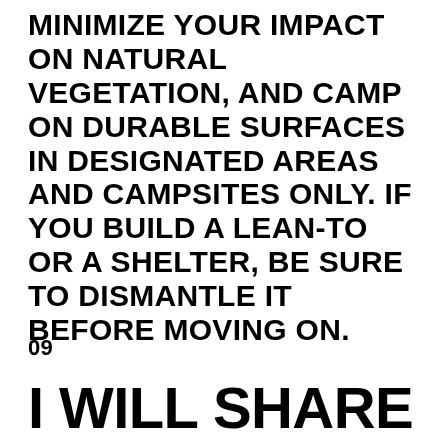MINIMIZE YOUR IMPACT ON NATURAL VEGETATION, AND CAMP ON DURABLE SURFACES IN DESIGNATED AREAS AND CAMPSITES ONLY. IF YOU BUILD A LEAN-TO OR A SHELTER, BE SURE TO DISMANTLE IT BEFORE MOVING ON.
09
I WILL SHARE